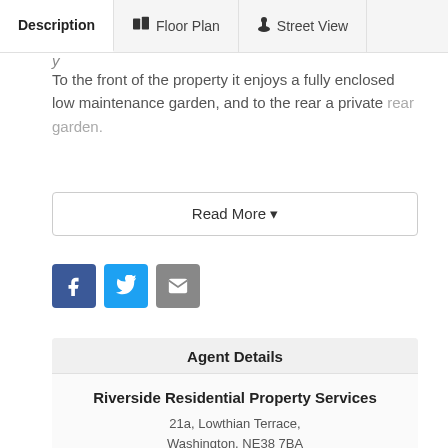Description | Floor Plan | Street View
To the front of the property it enjoys a fully enclosed low maintenance garden, and to the rear a private rear garden.
Read More ▾
[Figure (infographic): Facebook, Twitter, and Email social sharing icons]
Agent Details
Riverside Residential Property Services
21a, Lowthian Terrace,
Washington, NE38 7BA
Show Contact